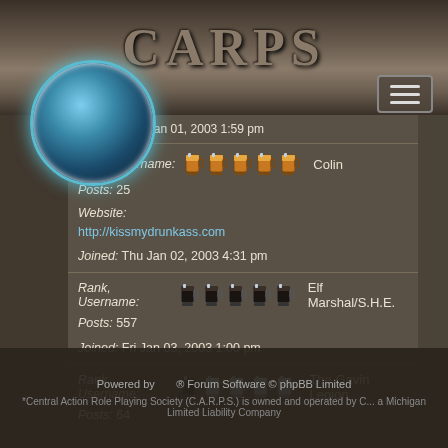CARPS
Joined: Wed Jan 01, 2003 1:59 pm
Rank, Username: [beer mugs] Colin
Posts: 25
Website: http://kissmydrunkass.com
Joined: Thu Jan 02, 2003 4:31 pm
Rank, Username: [beer mugs] Elf Marshal/S.H.E.
Posts: 557
Joined: Fri Jan 03, 2003 1:00 pm
Rank, Username: [beer mugs] The Gavin Legion
Posts: 64
Powered by Forum Software © phpBB Limited
*Central Action Role Playing Society (C.A.R.P.S.) is owned and operated by C... a Michigan Limited Liability Company